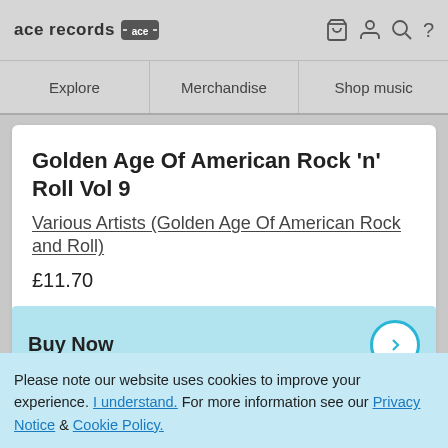ace records [logo] [cart] [user] [search] [?]
Explore | Merchandise | Shop music
Golden Age Of American Rock 'n' Roll Vol 9
Various Artists (Golden Age Of American Rock and Roll)
£11.70
Buy Now
Please note our website uses cookies to improve your experience. I understand. For more information see our Privacy Notice & Cookie Policy.